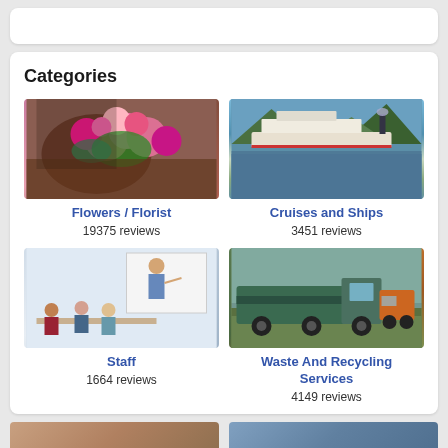Categories
[Figure (photo): Person arranging pink and rose flowers/bouquet on a wooden table]
Flowers / Florist
19375 reviews
[Figure (photo): Large cruise ship sailing in a fjord with green mountains and reflective water]
Cruises and Ships
3451 reviews
[Figure (photo): Office meeting with staff, man pointing at whiteboard, others seated at table]
Staff
1664 reviews
[Figure (photo): Green garbage/waste truck parked on a road with orange vehicle and trees in background]
Waste And Recycling Services
4149 reviews